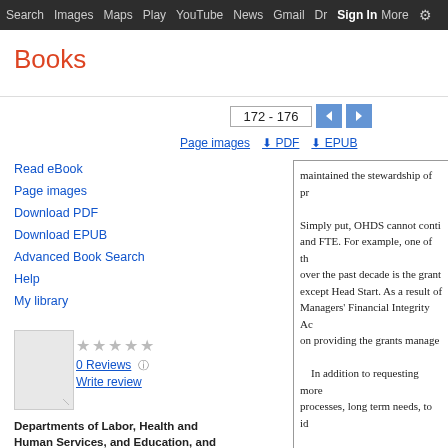Search  Images  Maps  Play  YouTube  News  Gmail  Dr  Sign In  More  ⚙
Books
172 - 176  ◄  ►  Page images  ⬇ PDF  ⬇ EPUB
Read eBook
Page images
Download PDF
Download EPUB
Advanced Book Search
Help
My library
0 Reviews
Write review
Departments of Labor, Health and Human Services, and Education, and Related...
maintained the stewardship of pr

Simply put, OHDS cannot conti
and FTE. For example, one of th
over the past decade is the grant
except Head Start. As a result of
Managers' Financial Integrity Ac
on providing the grants manage

    In addition to requesting more
processes, long term needs, to id

QUESTIONS SUBMITTTED